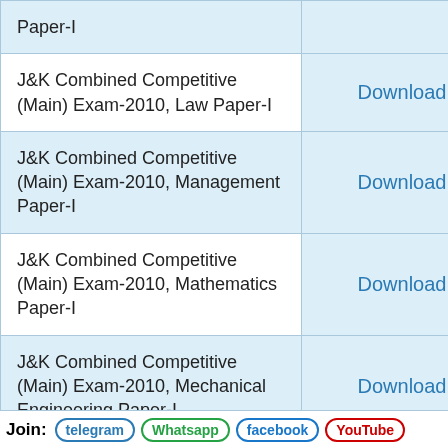| Exam Name | Link |
| --- | --- |
| Paper-I |  |
| J&K Combined Competitive (Main) Exam-2010, Law Paper-I | Download |
| J&K Combined Competitive (Main) Exam-2010, Management Paper-I | Download |
| J&K Combined Competitive (Main) Exam-2010, Mathematics Paper-I | Download |
| J&K Combined Competitive (Main) Exam-2010, Mechanical Engineering Paper-I | Download |
| J&K Combined Competitive (Main) Exam-2010, Persian Paper-I | Download |
Join: telegram Whatsapp facebook YouTube